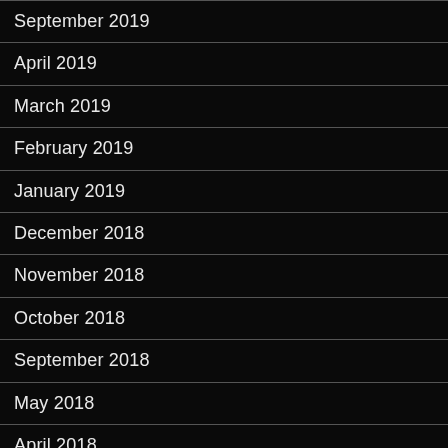September 2019
April 2019
March 2019
February 2019
January 2019
December 2018
November 2018
October 2018
September 2018
May 2018
April 2018
March 2018